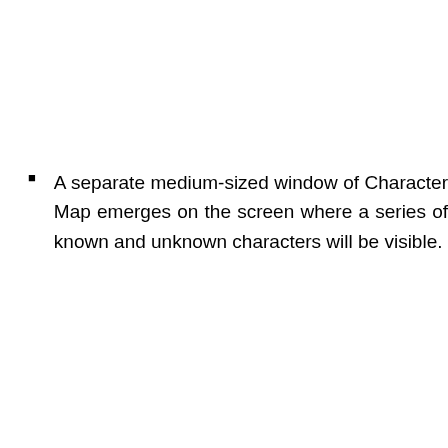A separate medium-sized window of Character Map emerges on the screen where a series of known and unknown characters will be visible.